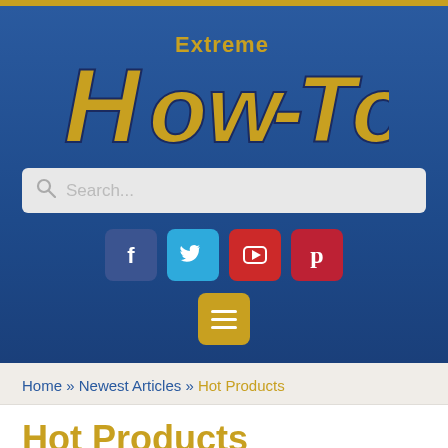[Figure (logo): Extreme How-To magazine logo with gold stylized text on blue background]
[Figure (screenshot): Search bar with placeholder text 'Search...' and magnifying glass icon]
[Figure (infographic): Social media icons: Facebook (dark blue), Twitter (light blue), YouTube (red), Pinterest (dark red), and a gold menu button with hamburger icon]
Home » Newest Articles » Hot Products
Hot Products
chad   July 15, 2019   Hot Products